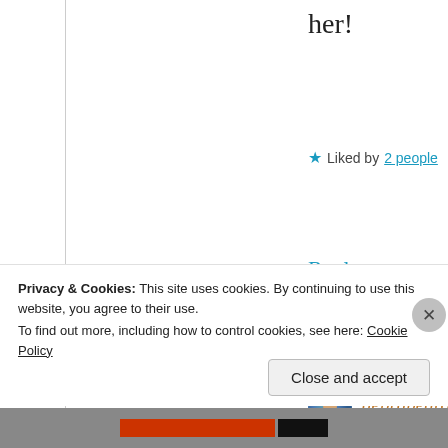her!
★ Liked by 2 people
Reply
[Figure (photo): Round avatar photo of a person, partially visible, with blue background]
debrapedro
JULY 12, 2018
Ricardo, I
you share
Privacy & Cookies: This site uses cookies. By continuing to use this website, you agree to their use.
To find out more, including how to control cookies, see here: Cookie Policy
Close and accept